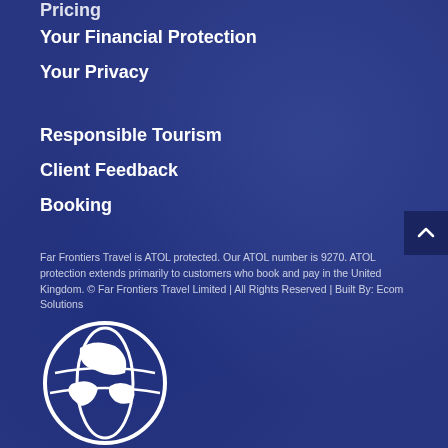Pricing
Your Financial Protection
Your Privacy
Responsible Tourism
Client Feedback
Booking
Far Frontiers Travel is ATOL protected. Our ATOL number is 9270. ATOL protection extends primarily to customers who book and pay in the United Kingdom. © Far Frontiers Travel Limited | All Rights Reserved | Built By: Ecom Solutions
[Figure (logo): ATOL protected logo — white circular globe icon on dark blue background, partially visible at bottom of page]